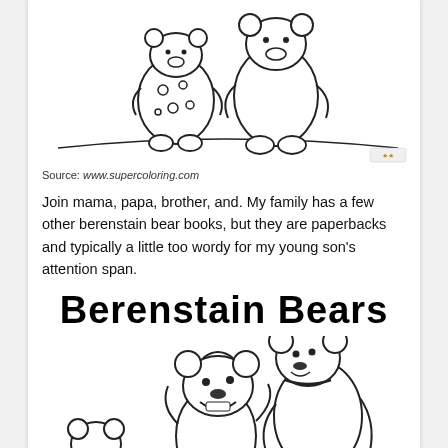[Figure (illustration): Coloring book style line drawing of Berenstain Bears characters (two bears with spotted clothing) walking or playing, partially visible at top of page]
Source: www.supercoloring.com
Join mama, papa, brother, and. My family has a few other berenstain bear books, but they are paperbacks and typically a little too wordy for my young son's attention span.
Berenstain Bears
[Figure (illustration): Coloring book style line drawing of Berenstain Bears characters (two bear cubs) partially visible at the bottom of the page]